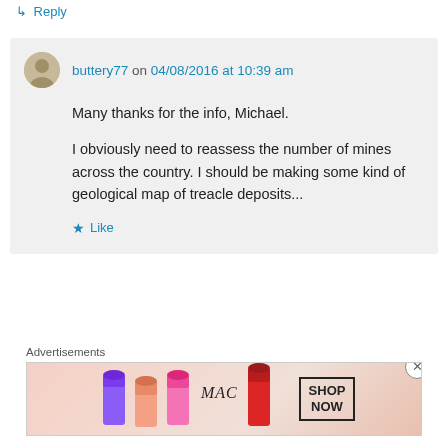↳ Reply
buttery77 on 04/08/2016 at 10:39 am
Many thanks for the info, Michael.

I obviously need to reassess the number of mines across the country. I should be making some kind of geological map of treacle deposits...
★ Like
↳ Reply
Advertisements
[Figure (illustration): MAC cosmetics advertisement banner showing lipsticks with MAC logo and SHOP NOW button]